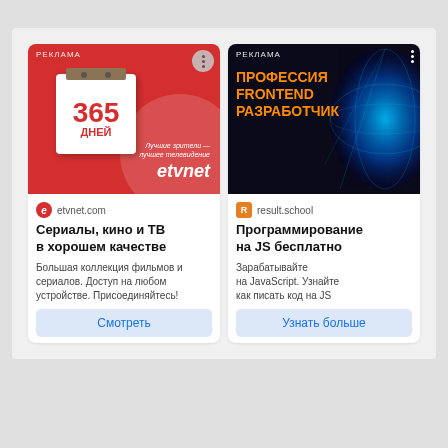[Figure (screenshot): Advertisement card for etvnet.com - shows a calendar with '365 ДНЕЙ' on red background with etvnet logo]
РЕКЛАМА
etvnet.com
Сериалы, кино и ТВ в хорошем качестве
Большая коллекция фильмов и сериалов. Доступ на любом устройстве. Присоединяйтесь!
Смотреть
[Figure (screenshot): Advertisement card for result.school - dark background with globe, text 'ПРОФЕССИЯ FRONTEND РАЗРАБОТЧИК' in orange]
РЕКЛАМА
result.school
Программирование на JS бесплатно
Зарабатывайте на JavaScript. Узнайте как писать код на JS
Узнать больше